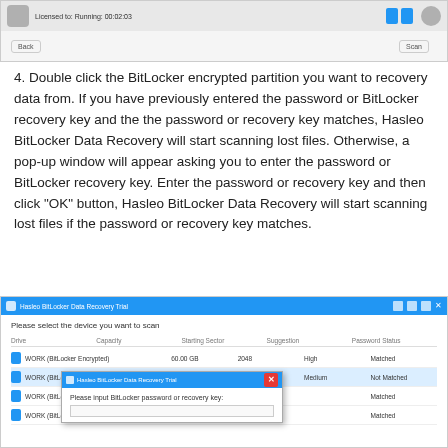[Figure (screenshot): Top portion of Hasleo BitLocker Data Recovery Trial application window showing toolbar with Back and Scan buttons]
4. Double click the BitLocker encrypted partition you want to recovery data from. If you have previously entered the password or BitLocker recovery key and the the password or recovery key matches, Hasleo BitLocker Data Recovery will start scanning lost files. Otherwise, a pop-up window will appear asking you to enter the password or BitLocker recovery key. Enter the password or recovery key and then click "OK" button, Hasleo BitLocker Data Recovery will start scanning lost files if the password or recovery key matches.
[Figure (screenshot): Hasleo BitLocker Data Recovery Trial application window showing a list of drives with columns Drive, Capacity, Starting Sector, Suggestion, Password Status. Rows: WORK (BitLocker Encrypted) 60.00 GB 2048 High Matched; WORK (BitLocker Encrypted) 30.70 GB 2299200 Medium Not Matched; WORK (BitLocker Encrypt...) Matched; WORK (BitLocker Encrypt...) Matched. A dialog box is overlaid: Hasleo BitLocker Data Recovery Trial with prompt 'Please input BitLocker password or recovery key']